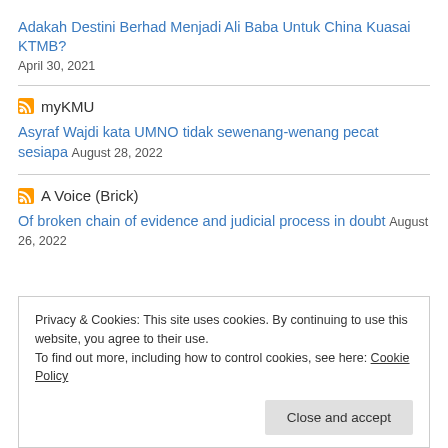Adakah Destini Berhad Menjadi Ali Baba Untuk China Kuasai KTMB?
April 30, 2021
myKMU
Asyraf Wajdi kata UMNO tidak sewenang-wenang pecat sesiapa
August 28, 2022
A Voice (Brick)
Of broken chain of evidence and judicial process in doubt
August 26, 2022
Privacy & Cookies: This site uses cookies. By continuing to use this website, you agree to their use.
To find out more, including how to control cookies, see here: Cookie Policy